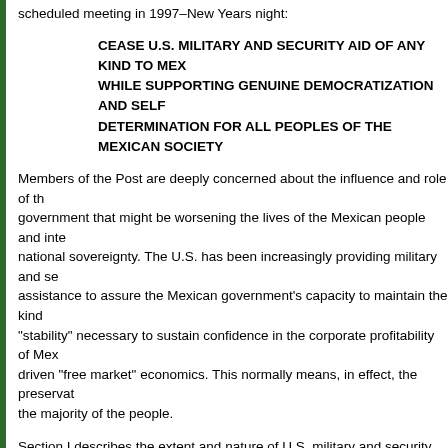scheduled meeting in 1997–New Years night:
CEASE U.S. MILITARY AND SECURITY AID OF ANY KIND TO MEXICO WHILE SUPPORTING GENUINE DEMOCRATIZATION AND SELF DETERMINATION FOR ALL PEOPLES OF THE MEXICAN SOCIETY
Members of the Post are deeply concerned about the influence and role of the government that might be worsening the lives of the Mexican people and interfering with national sovereignty. The U.S. has been increasingly providing military and security assistance to assure the Mexican government's capacity to maintain the kind of "stability" necessary to sustain confidence in the corporate profitability of Mexico-driven "free market" economics. This normally means, in effect, the preservation of the majority of the people.
Section I describes the extent and nature of U.S. military and security assistance as could be discovered from available sources and eyewitnesses. Section II unmasks the war which to date serves as the primary pretext or cover for the military aid. Section III delineates the extent of poverty and misery in Mexico and how the NAFTA-driven economics aggravating the plight for the majority of Mexico's people. Section IV reports the militarization of the domestic Mexican society and the corresponding rise of repression against the people who are determined to struggle for genuine democratization